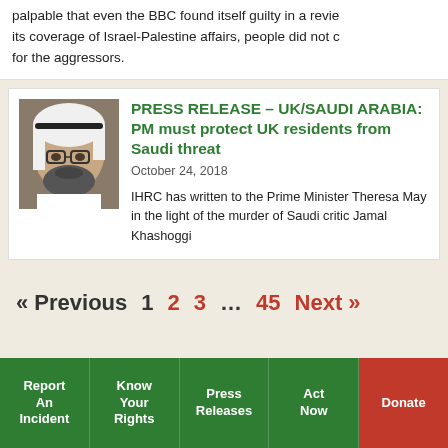palpable that even the BBC found itself guilty in a review of its coverage of Israel-Palestine affairs, people did not cheer for the aggressors.
PRESS RELEASE – UK/SAUDI ARABIA: PM must protect UK residents from Saudi threat
October 24, 2018
IHRC has written to the Prime Minister Theresa May in the light of the murder of Saudi critic Jamal Khashoggi
« Previous  1  2  3  …  45  Next »
Report An Incident | Know Your Rights | Press Releases | Act Now | Donate